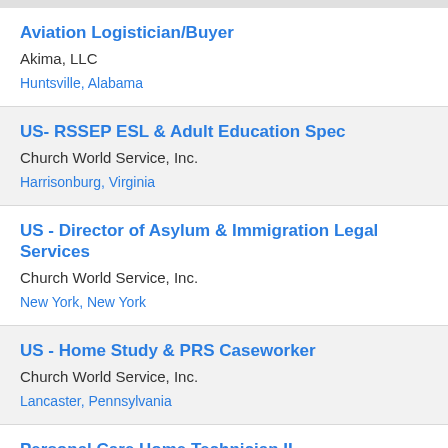Aviation Logistician/Buyer
Akima, LLC
Huntsville, Alabama
US- RSSEP ESL & Adult Education Spec
Church World Service, Inc.
Harrisonburg, Virginia
US - Director of Asylum & Immigration Legal Services
Church World Service, Inc.
New York, New York
US - Home Study & PRS Caseworker
Church World Service, Inc.
Lancaster, Pennsylvania
Personal Care Home Technician II
Merakey
Tarentum, Pennsylvania